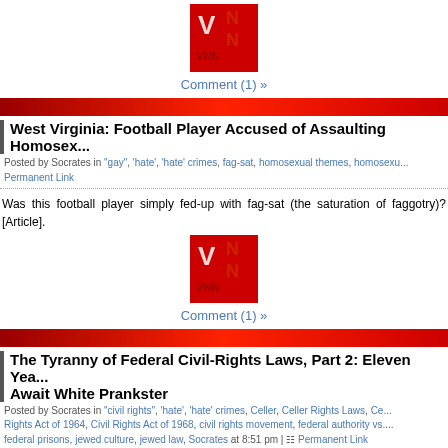[Figure (logo): VNN logo - red square with white V, N, N letters]
Comment (1) »
[Figure (other): Red horizontal gradient bar]
West Virginia: Football Player Accused of Assaulting Homosex...
Posted by Socrates in "gay", 'hate', 'hate' crimes, fag-sat, homosexual themes, homosexu...
Permanent Link
Was this football player simply fed-up with fag-sat (the saturation of faggotry)? [Article].
[Figure (logo): VNN logo - red square with white V, N, N letters]
Comment (1) »
[Figure (other): Red horizontal gradient bar]
The Tyranny of Federal Civil-Rights Laws, Part 2: Eleven Yea... Await White Prankster
Posted by Socrates in "civil rights", 'hate', 'hate' crimes, Celler, Celler Rights Laws, Ce... Rights Act of 1964, Civil Rights Act of 1968, civil rights movement, federal authority vs. ... federal prisons, jewed culture, jewed law, Socrates at 8:51 pm | Permanent Link
Federal prisons are worse than state prisons because inmates are u...